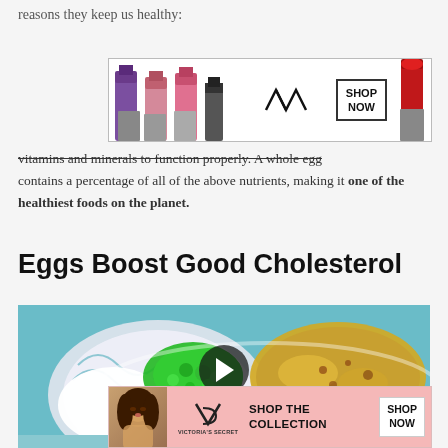reasons they keep us healthy:
[Figure (other): MAC Cosmetics advertisement banner showing colorful lipsticks and SHOP NOW button]
vitamins and minerals to function properly. A whole egg contains a percentage of all of the above nutrients, making it one of the healthiest foods on the planet.
Eggs Boost Good Cholesterol
[Figure (other): Video thumbnail showing a plate with egg omelette and green vegetables on a blue background, with a play button overlay and CLOSE button]
[Figure (other): Victoria's Secret advertisement banner with pink background showing SHOP THE COLLECTION and SHOP NOW button]